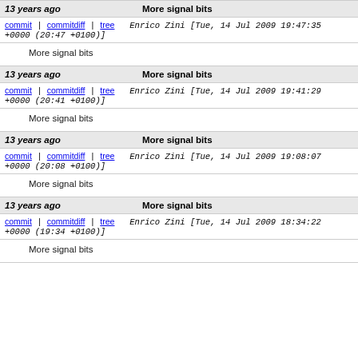| 13 years ago | More signal bits |
| --- | --- |
| commit | commitdiff | tree  Enrico Zini [Tue, 14 Jul 2009 19:47:35 +0000 (20:47 +0100)] | More signal bits |
| commit | commitdiff | tree  Enrico Zini [Tue, 14 Jul 2009 19:41:29 +0000 (20:41 +0100)] | More signal bits |
| commit | commitdiff | tree  Enrico Zini [Tue, 14 Jul 2009 19:08:07 +0000 (20:08 +0100)] | More signal bits |
| commit | commitdiff | tree  Enrico Zini [Tue, 14 Jul 2009 18:34:22 +0000 (19:34 +0100)] | More signal bits |